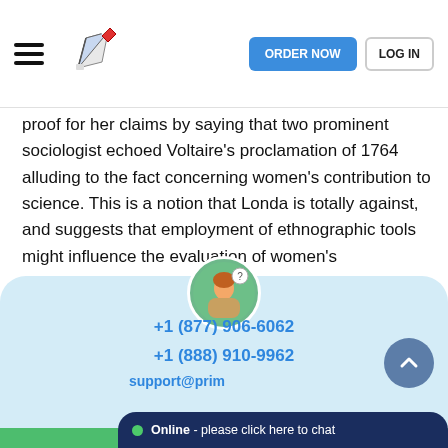ORDER NOW | LOG IN
proof for her claims by saying that two prominent sociologist echoed Voltaire's proclamation of 1764 alluding to the fact concerning women's contribution to science. This is a notion that Londa is totally against, and suggests that employment of ethnographic tools might influence the evaluation of women's contribution. Londa further brings to light the ethnographic examples that she suggests need consideration such as midwifery and breeding of seed for potatoes. She explains that scientist arguing against women's contribution should try to focus their attention on Mid-Western traditions (Schiebinger, 217).
[Figure (illustration): Avatar icon of a person studying/writing with a question mark bubble]
+1 (877) 906-6062
+1 (888) 910-9962
support@primewritings.com
Online - please click here to chat